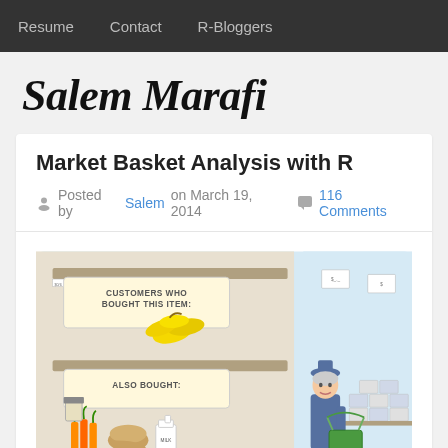Resume   Contact   R-Bloggers
Salem Marafi
Market Basket Analysis with R
Posted by Salem on March 19, 2014   116 Comments
[Figure (illustration): Cartoon of a grocery store display showing shelves with produce. A sign reads 'CUSTOMERS WHO BOUGHT THIS ITEM:' above a bunch of bananas, and below another sign reads 'ALSO BOUGHT:' with carrots, bread, and a milk jug. An elderly woman with a shopping basket stands nearby looking at the display.]